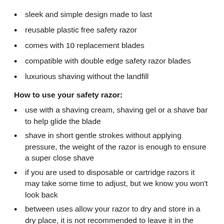sleek and simple design made to last
reusable plastic free safety razor
comes with 10 replacement blades
compatible with double edge safety razor blades
luxurious shaving without the landfill
How to use your safety razor:
use with a shaving cream, shaving gel or a shave bar to help glide the blade
shave in short gentle strokes without applying pressure, the weight of the razor is enough to ensure a super close shave
if you are used to disposable or cartridge razors it may take some time to adjust, but we know you won't look back
between uses allow your razor to dry and store in a dry place, it is not recommended to leave it in the shower
the blades are double sided so once you have done 6 - 7